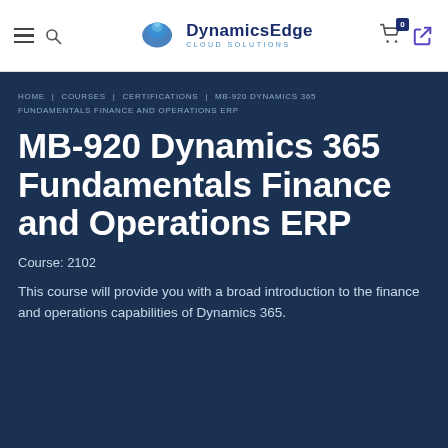DynamicsEdge Cloud Solutions — navigation header with hamburger menu, search, cart (0 items), and login icon
HOME | COURSES | CERTIFICATIONS | MB-920 DYNAMICS 365 FUNDAMENTALS FINANCE AND OPERATIONS ERP
MB-920 Dynamics 365 Fundamentals Finance and Operations ERP
Course: 2102
This course will provide you with a broad introduction to the finance and operations capabilities of Dynamics 365.